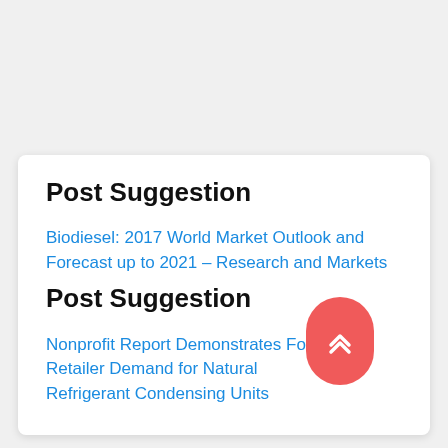Post Suggestion
Biodiesel: 2017 World Market Outlook and Forecast up to 2021 – Research and Markets
Post Suggestion
Nonprofit Report Demonstrates Food Retailer Demand for Natural Refrigerant Condensing Units